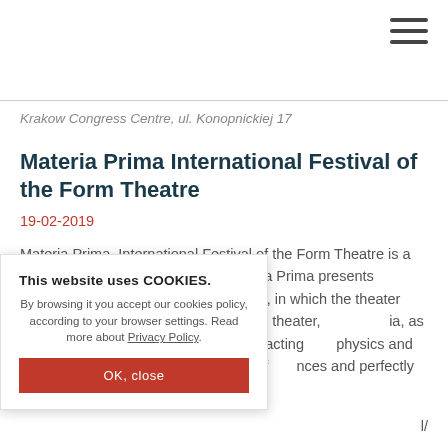hamburger menu icon
Krakow Congress Centre, ul. Konopnickiej 17
Materia Prima International Festival of the Form Theatre
19-02-2019
Materia Prima. International Festival of the Form Theatre is a unique event on a global scale. Materia Prima presents surprising and revealing performances, in which the theater combines with a new circus and dance theater, …ia, as well as forms of …ws, where actors' acting …physics and where the …tival program consists of …nces and perfectly
This website uses COOKIES.
By browsing it you accept our cookies policy, according to your browser settings. Read more about Privacy Policy.
OK, close
l/